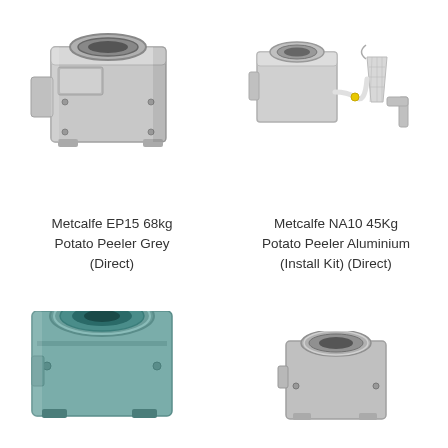[Figure (photo): Metcalfe EP15 68kg Potato Peeler Grey (Direct) - stainless steel industrial potato peeler machine]
[Figure (photo): Metcalfe NA10 45Kg Potato Peeler Aluminium (Install Kit) (Direct) - aluminium potato peeler with installation kit accessories including tubing, bucket, and elbow fitting]
Metcalfe EP15 68kg Potato Peeler Grey (Direct)
Metcalfe NA10 45Kg Potato Peeler Aluminium (Install Kit) (Direct)
[Figure (photo): Partial view of a teal/green colored potato peeler machine - bottom left]
[Figure (photo): Partial view of a smaller potato peeler machine - bottom right]